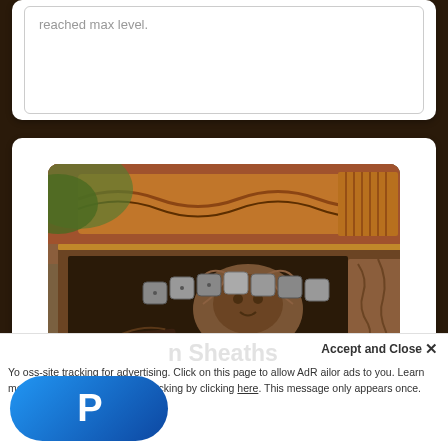reached max level.
[Figure (photo): Ornately carved wooden dice box with metal dice inside, alongside a carved wooden tray, on a wooden table. The box features detailed relief carvings including a lion/face motif.]
n Sheaths
Accept and Close ×
You [PayPal logo] oss-site tracking for advertising. Click on this page to allow AdR[PayPal logo] ailor ads to you. Learn more or opt out of this AdRoll tracking by clicking here. This message only appears once.
[Figure (logo): PayPal logo button - blue pill-shaped button with white P letter]